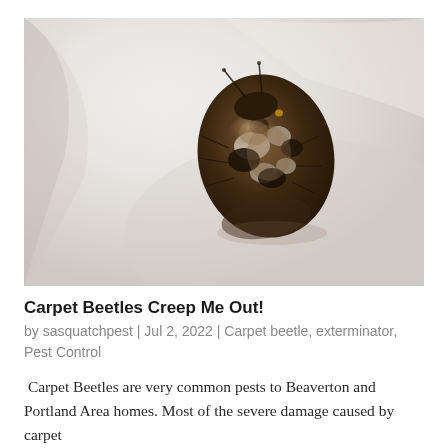[Figure (photo): Close-up macro photograph of a carpet beetle on a white surface. The beetle has a mottled brown, black, and white patterned shell with yellow/orange markings near its head. The background is soft white and out of focus.]
Carpet Beetles Creep Me Out!
by sasquatchpest | Jul 2, 2022 | Carpet beetle, exterminator, Pest Control
Carpet Beetles are very common pests to Beaverton and Portland Area homes. Most of the severe damage caused by carpet